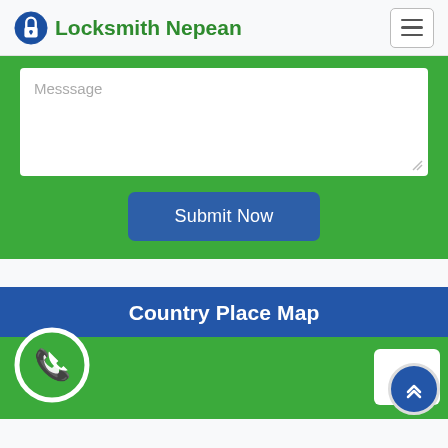Locksmith Nepean
Messsage
Submit Now
Country Place Map
[Figure (screenshot): Phone/call icon inside a green circle with white border]
[Figure (screenshot): Scroll-up button, blue circle with upward chevron arrows]
rms